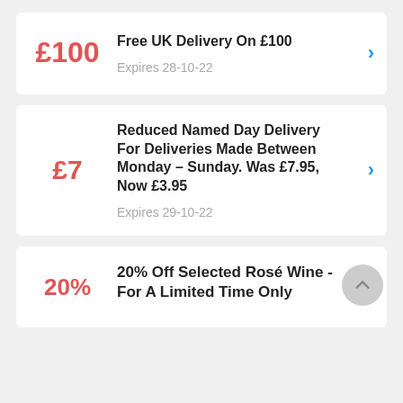£100
Free UK Delivery On £100
Expires 28-10-22
£7
Reduced Named Day Delivery For Deliveries Made Between Monday – Sunday. Was £7.95, Now £3.95
Expires 29-10-22
20%
20% Off Selected Rosé Wine - For A Limited Time Only